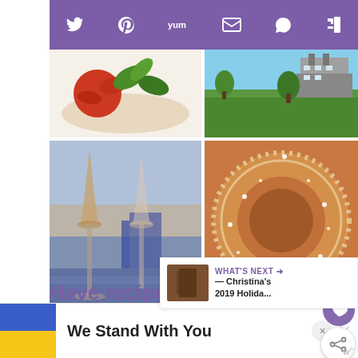[Figure (screenshot): Purple social media sharing toolbar with Twitter, Pinterest, Yummly, email, WhatsApp, and Flipboard icons]
[Figure (photo): Food photo - tomato sauce with basil leaves on white plate (top left)]
[Figure (photo): Landscape photo - green grass field with building in background (top right)]
[Figure (photo): Two champagne/wine glasses held up against scenic backdrop at dusk (bottom left)]
[Figure (photo): Close-up of glazed sugar-coated donuts (bottom right)]
Have recipes and travel sent to your inbox.
Email
Required
[Figure (infographic): What's Next callout box: Christina's 2019 Holida...]
[Figure (screenshot): Advertisement banner: Ukraine flag icon with text 'We Stand With You']